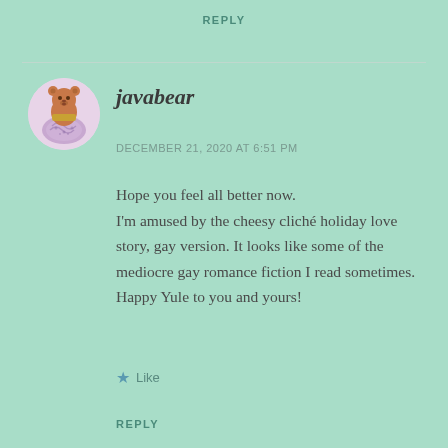REPLY
[Figure (illustration): Circular avatar image of a teddy bear with a purple/lavender patterned blanket or wrap]
javabear
DECEMBER 21, 2020 AT 6:51 PM
Hope you feel all better now.
I'm amused by the cheesy cliché holiday love story, gay version. It looks like some of the mediocre gay romance fiction I read sometimes.
Happy Yule to you and yours!
Like
REPLY